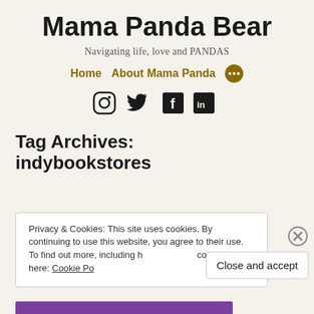Mama Panda Bear
Navigating life, love and PANDAS
Home   About Mama Panda   [more]
[Figure (other): Social media icons: Instagram, Twitter, Facebook, LinkedIn]
Tag Archives:
indybookstores
Privacy & Cookies: This site uses cookies. By continuing to use this website, you agree to their use.
To find out more, including how to control cookies, see here: Cookie Po[licy]
Close and accept